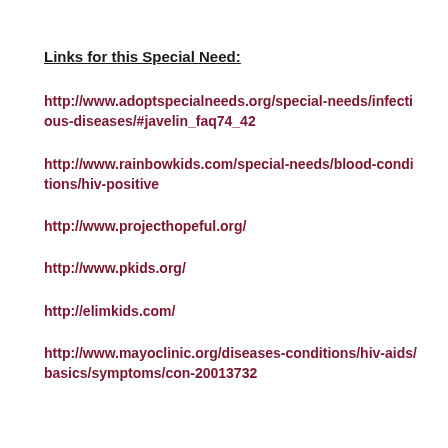Links for this Special Need:
http://www.adoptspecialneeds.org/special-needs/infectious-diseases/#javelin_faq74_42
http://www.rainbowkids.com/special-needs/blood-conditions/hiv-positive
http://www.projecthopeful.org/
http://www.pkids.org/
http://elimkids.com/
http://www.mayoclinic.org/diseases-conditions/hiv-aids/basics/symptoms/con-20013732